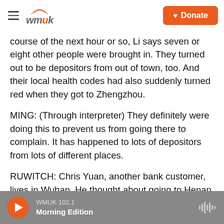WMUK | Donate
course of the next hour or so, Li says seven or eight other people were brought in. They turned out to be depositors from out of town, too. And their local health codes had also suddenly turned red when they got to Zhengzhou.
MING: (Through interpreter) They definitely were doing this to prevent us from going there to complain. It has happened to lots of depositors from lots of different places.
RUWITCH: Chris Yuan, another bank customer, lives in Wuhan. He thought about going to Henan, but he discovered his health code for the province
WMUK 102.1 Morning Edition